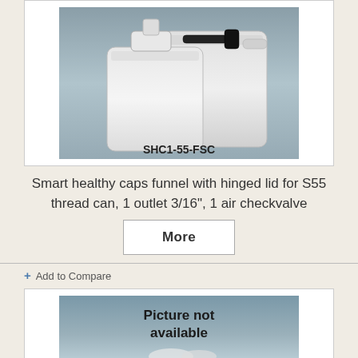[Figure (photo): Photo of plastic jerry cans with funnel cap labeled SHC1-55-FSC]
Smart healthy caps funnel with hinged lid for S55 thread can, 1 outlet 3/16", 1 air checkvalve
More
+ Add to Compare
[Figure (photo): Picture not available placeholder image]